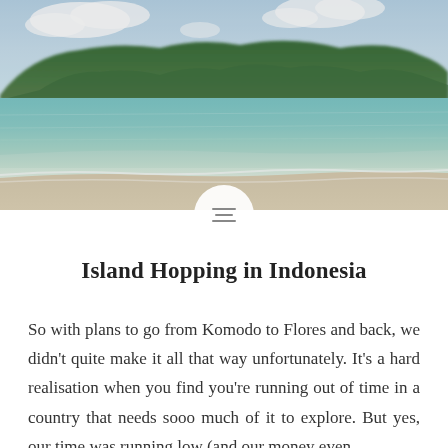[Figure (photo): Aerial/beach-level view of a tropical beach with turquoise water, sandy shore, and a green mountainous island in the background under a partly cloudy blue sky. Indonesian coastal scenery.]
Island Hopping in Indonesia
So with plans to go from Komodo to Flores and back, we didn't quite make it all that way unfortunately. It's a hard realisation when you find you're running out of time in a country that needs sooo much of it to explore. But yes, our time was running low (and our money even